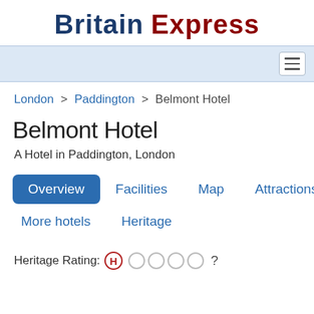Britain Express
[Figure (screenshot): Navigation bar with hamburger menu icon on light blue background]
London > Paddington > Belmont Hotel
Belmont Hotel
A Hotel in Paddington, London
Overview  Facilities  Map  Attractions  More hotels  Heritage
Heritage Rating: H (1 out of 5) ?